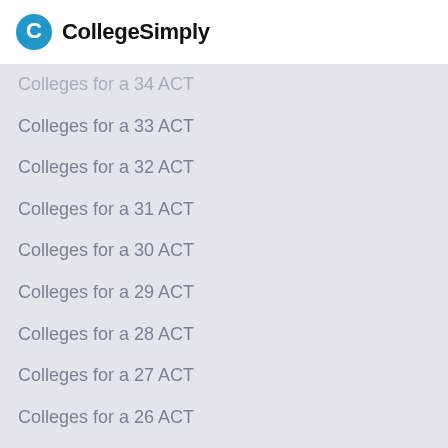CollegeSimply
Colleges for a 34 ACT
Colleges for a 33 ACT
Colleges for a 32 ACT
Colleges for a 31 ACT
Colleges for a 30 ACT
Colleges for a 29 ACT
Colleges for a 28 ACT
Colleges for a 27 ACT
Colleges for a 26 ACT
Colleges for a 25 ACT
Colleges for a 24 ACT
Colleges for a 23 ACT
Colleges for a 22 ACT
Colleges for a 21 ACT
Colleges for a 20 ACT
Colleges for a 19 ACT